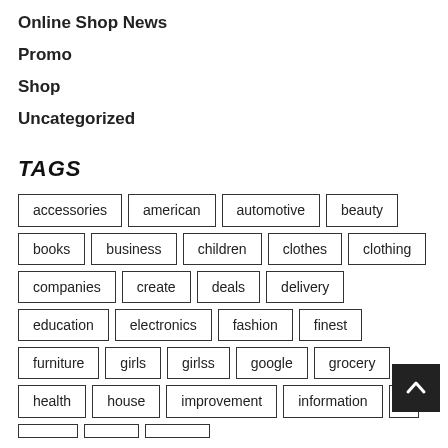Online Shop News
Promo
Shop
Uncategorized
TAGS
accessories american automotive beauty books business children clothes clothing companies create deals delivery education electronics fashion finest furniture girls girlss google grocery health house improvement information